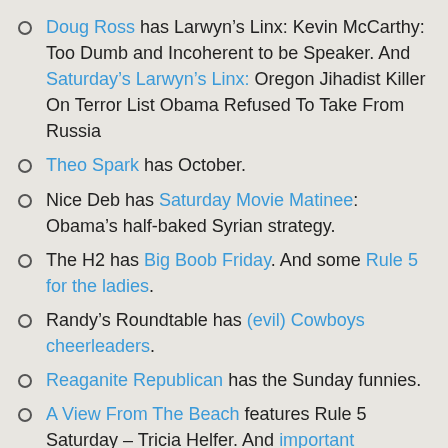Doug Ross has Larwyn’s Linx: Kevin McCarthy: Too Dumb and Incoherent to be Speaker. And Saturday’s Larwyn’s Linx: Oregon Jihadist Killer On Terror List Obama Refused To Take From Russia
Theo Spark has October.
Nice Deb has Saturday Movie Matinee: Obama’s half-baked Syrian strategy.
The H2 has Big Boob Friday. And some Rule 5 for the ladies.
Randy’s Roundtable has (evil) Cowboys cheerleaders.
Reaganite Republican has the Sunday funnies.
A View From The Beach features Rule 5 Saturday – Tricia Helfer. And important questions.